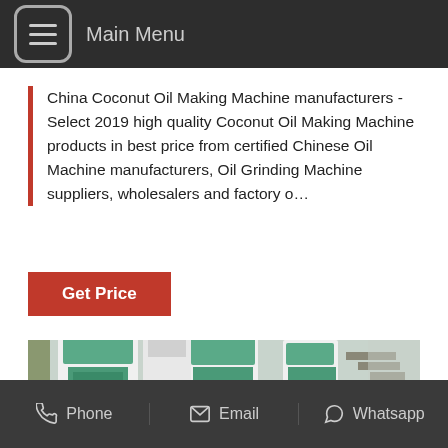Main Menu
China Coconut Oil Making Machine manufacturers - Select 2019 high quality Coconut Oil Making Machine products in best price from certified Chinese Oil Machine manufacturers, Oil Grinding Machine suppliers, wholesalers and factory o…
Get Price
[Figure (photo): Industrial machinery photo showing multiple large green oil pressing machines inside a factory building with a corrugated metal roof and concrete floor.]
Phone   Email   Whatsapp